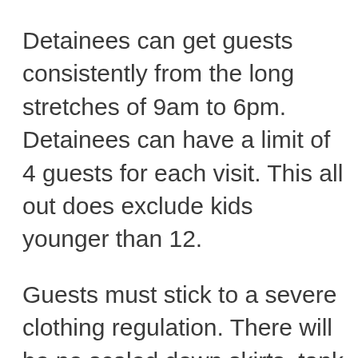Detainees can get guests consistently from the long stretches of 9am to 6pm. Detainees can have a limit of 4 guests for each visit. This all out does exclude kids younger than 12.
Guests must stick to a severe clothing regulation. There will be no scaled down skirts, tank tops, sheer garments, or hostile apparel permitted. If you are wearing any of